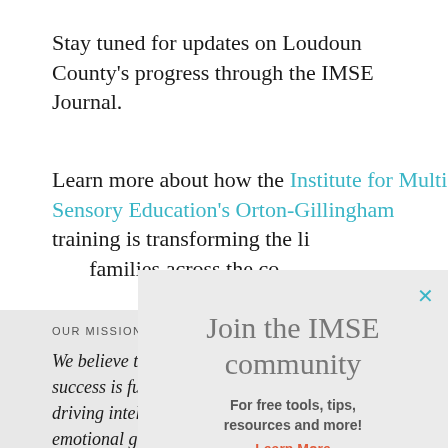Stay tuned for updates on Loudoun County’s progress through the IMSE Journal.
Learn more about how the Institute for Multi-Sensory Education’s Orton-Gillingham training is transforming the lives of students and families across the co…
OUR MISSION
We believe that reading success is fundamental, driving intellectual and emotional growth. Becau…
[Figure (other): Popup overlay with title 'Join the IMSE community', subtitle 'For free tools, tips, resources and more!', and a 'Learn More' link in red/orange. Has a teal X close button in top right.]